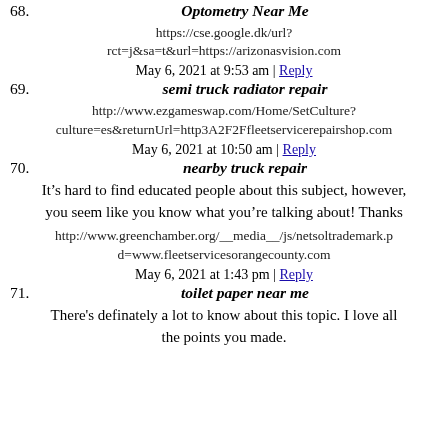68. Optometry Near Me
https://cse.google.dk/url?rct=j&sa=t&url=https://arizonasvision.com
May 6, 2021 at 9:53 am | Reply
69. semi truck radiator repair
http://www.ezgameswap.com/Home/SetCulture?culture=es&returnUrl=http3A2F2Ffleetservicerepairshop.com
May 6, 2021 at 10:50 am | Reply
70. nearby truck repair
It’s hard to find educated people about this subject, however, you seem like you know what you’re talking about! Thanks
http://www.greenchamber.org/__media__/js/netsoltrademark.pd=www.fleetservicesorangecounty.com
May 6, 2021 at 1:43 pm | Reply
71. toilet paper near me
There's definately a lot to know about this topic. I love all the points you made.